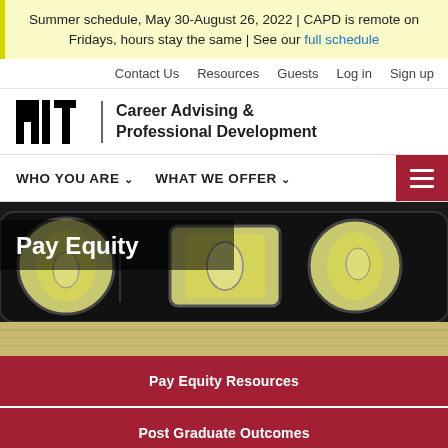Summer schedule, May 30-August 26, 2022 | CAPD is remote on Fridays, hours stay the same | See our full schedule
Contact Us   Resources   Guests   Log in   Sign up
[Figure (logo): MIT logo (blocky letters M-I-T in black) with vertical divider and text 'Career Advising & Professional Development']
WHO YOU ARE ∨   WHAT WE OFFER ∨
[Figure (photo): Close-up photo of a spirit level (bubble level tool) resting on paper currency, with 'Pay Equity' label overlaid in white text on dark background]
Pay Equity Resources
Post Graduate Outcomes
Featured Organizations